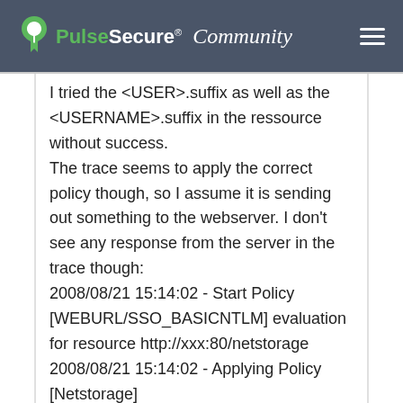[Figure (logo): Pulse Secure Community logo in header bar]
I tried the <USER>.suffix as well as the <USERNAME>.suffix in the ressource without success.
The trace seems to apply the correct policy though, so I assume it is sending out something to the webserver. I don't see any response from the server in the trace though:
2008/08/21 15:14:02 - Start Policy [WEBURL/SSO_BASICNTLM] evaluation for resource http://xxx:80/netstorage
2008/08/21 15:14:02 - Applying Policy [Netstorage]